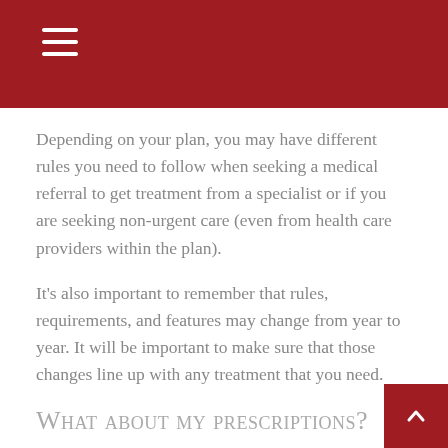Depending on your plan, you may have different rules you need to follow when seeking a medical referral to get treatment from a specialist or if you are seeking non-urgent care (even from health care providers within the plan).
It's also important to remember that rules, requirements, and features may change from year to year. It will be important to make sure that those changes line up with any treatment that you need.
What about my prescriptions?
While most MA plans offer Part D coverage for prescription drugs, some don't. One example would be for Medicare Medical Savings Account plans. In cases where the plan can't or chooses not to offer prescription drug coverage,